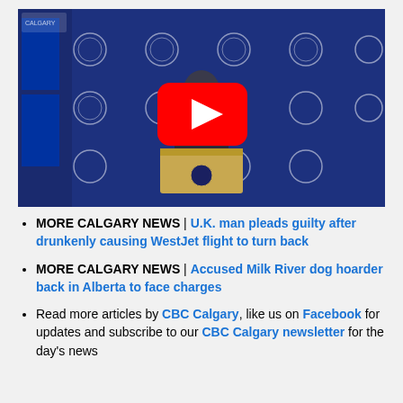[Figure (screenshot): YouTube video thumbnail showing a man in a suit at a podium with a Calgary Police Service branded backdrop, with a red YouTube play button overlay in the center.]
MORE CALGARY NEWS | U.K. man pleads guilty after drunkenly causing WestJet flight to turn back
MORE CALGARY NEWS | Accused Milk River dog hoarder back in Alberta to face charges
Read more articles by CBC Calgary, like us on Facebook for updates and subscribe to our CBC Calgary newsletter for the day's news